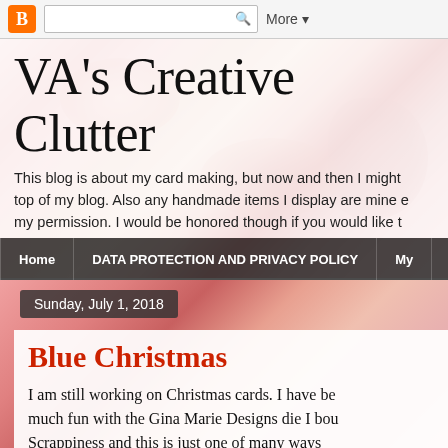Blogger navigation bar with search and More button
VA's Creative Clutter
This blog is about my card making, but now and then I might top of my blog. Also any handmade items I display are mine e my permission. I would be honored though if you would like t
Home | DATA PROTECTION AND PRIVACY POLICY | My
Sunday, July 1, 2018
Blue Christmas
I am still working on Christmas cards. I have be much fun with the Gina Marie Designs die I bou Scrappiness and this is just one of many ways die.